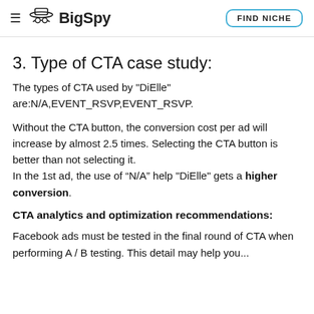BigSpy | FIND NICHE
3. Type of CTA case study:
The types of CTA used by "DiElle" are:N/A,EVENT_RSVP,EVENT_RSVP.
Without the CTA button, the conversion cost per ad will increase by almost 2.5 times. Selecting the CTA button is better than not selecting it.
In the 1st ad, the use of “N/A” help "DiElle" gets a higher conversion.
CTA analytics and optimization recommendations:
Facebook ads must be tested in the final round of CTA when performing A / B testing. This detail may help you...